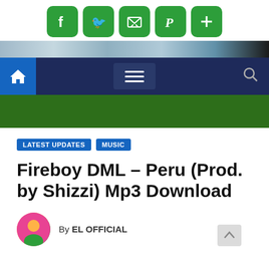[Figure (screenshot): Social media share buttons: Facebook, Twitter, Email, Pinterest, and a plus button, all green rounded squares]
[Figure (screenshot): Navigation bar with home icon, hamburger menu, and search icon on dark blue background]
[Figure (screenshot): Dark green advertisement/banner area]
LATEST UPDATES   MUSIC
Fireboy DML – Peru (Prod. by Shizzi) Mp3 Download
By EL OFFICIAL